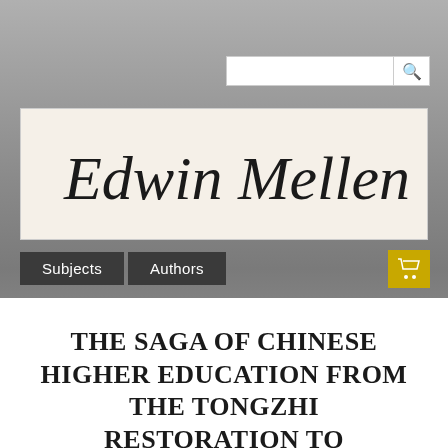[Figure (screenshot): Website screenshot of Edwin Mellen Press publisher website with search bar, cursive logo signature, navigation tabs (Subjects, Authors), and shopping cart button]
THE SAGA OF CHINESE HIGHER EDUCATION FROM THE TONGZHI RESTORATION TO TIANANMEN SQUARE: Revolution and Reform